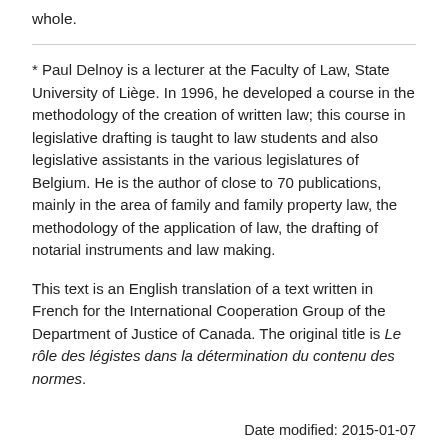whole.
* Paul Delnoy is a lecturer at the Faculty of Law, State University of Liège. In 1996, he developed a course in the methodology of the creation of written law; this course in legislative drafting is taught to law students and also legislative assistants in the various legislatures of Belgium. He is the author of close to 70 publications, mainly in the area of family and family property law, the methodology of the application of law, the drafting of notarial instruments and law making.
This text is an English translation of a text written in French for the International Cooperation Group of the Department of Justice of Canada. The original title is Le rôle des légistes dans la détermination du contenu des normes.
Date modified: 2015-01-07